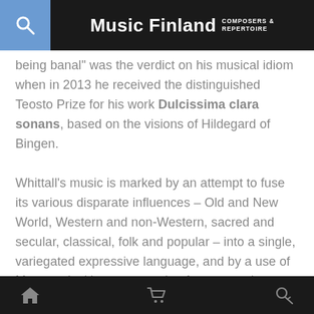Music Finland COMPOSERS & REPERTOIRE
being banal" was the verdict on his musical idiom when in 2013 he received the distinguished Teosto Prize for his work Dulcissima clara sonans, based on the visions of Hildegard of Bingen.
Whittall's music is marked by an attempt to fuse its various disparate influences – Old and New World, Western and non-Western, sacred and secular, classical, folk and popular – into a single, variegated expressive language, and by a use of extramusical imagery ranging from natural phenomena to poetry and landscape art.
More
home | cart | search